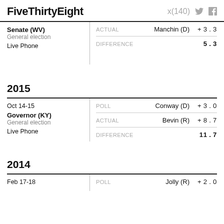FiveThirtyEight
| Race | Type | Winner | Value |
| --- | --- | --- | --- |
| Senate (WV)
General election
Live Phone | ACTUAL | Manchin (D) | +3.3 |
|  | DIFFERENCE |  | 5.3 |
2015
| Date / Race | Type | Winner | Value |
| --- | --- | --- | --- |
| Oct 14-15
Governor (KY)
General election
Live Phone | POLL | Conway (D) | +3.0 |
|  | ACTUAL | Bevin (R) | +8.7 |
|  | DIFFERENCE |  | 11.7 |
2014
| Date / Race | Type | Winner | Value |
| --- | --- | --- | --- |
| Feb 17-18 | POLL | Jolly (R) | +2.0 |